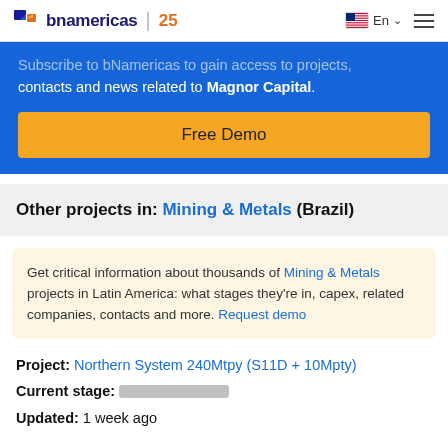bnamericas | 25  En  ☰
Subscribe to bNamericas to gain access to projects, contacts and news related to Magnor Capital.
Free Demo
Other projects in: Mining & Metals (Brazil)
Get critical information about thousands of Mining & Metals projects in Latin America: what stages they're in, capex, related companies, contacts and more. Request demo
Project: Northern System 240Mtpy (S11D + 10Mpty)
Current stage: [redacted]
Updated: 1 week ago